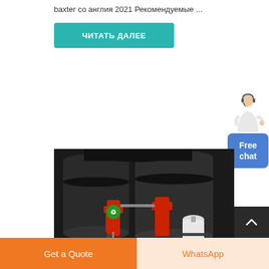baxter со англия 2021 Рекомендуемые ...
ЧИТАТЬ ДАЛЕЕ
[Figure (illustration): Chat widget with person figure and blue Free chat button]
[Figure (photo): Industrial machinery with red components, tubes, cylinders and a white canister]
Get a Quote
WhatsApp